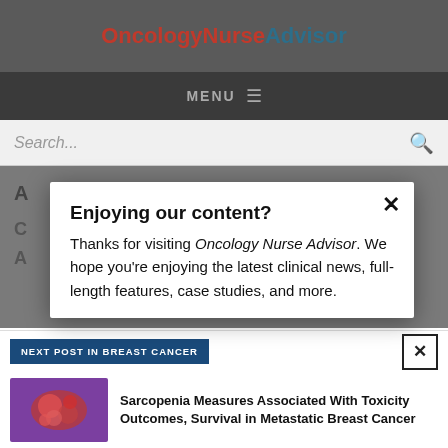OncologyNurseAdvisor
MENU
Search...
Enjoying our content?
Thanks for visiting Oncology Nurse Advisor. We hope you're enjoying the latest clinical news, full-length features, case studies, and more.
NEXT POST IN BREAST CANCER
Sarcopenia Measures Associated With Toxicity Outcomes, Survival in Metastatic Breast Cancer
LOGIN
REGISTER